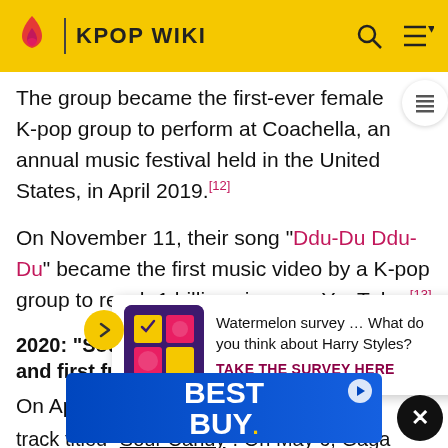KPOP WIKI
The group became the first-ever female K-pop group to perform at Coachella, an annual music festival held in the United States, in April 2019.[12]
On November 11, their song "Ddu-Du Ddu-Du" became the first music video by a K-pop group to reach 1 billion views on YouTube.[13]
2020: "Sour Candy", pre-release singles and first full ...
On Ap... red in Lac...
track titled "Sour Candy". On May 6, Gaga revealed on her Twitter ... ed on May 29, the same day as the Chromatica album